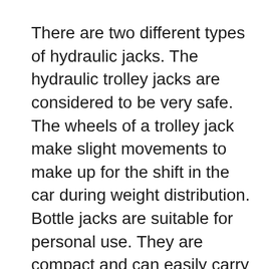There are two different types of hydraulic jacks. The hydraulic trolley jacks are considered to be very safe. The wheels of a trolley jack make slight movements to make up for the shift in the car during weight distribution. Bottle jacks are suitable for personal use. They are compact and can easily carry in cars. Trolley jacks are better for professionals and car enthusiasts. Bottle jacks have a coin-shaped lift surface.